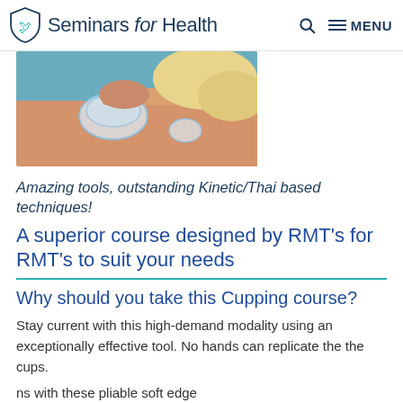Seminars for Health  MENU
[Figure (photo): Close-up photo of cupping therapy being applied to a person's back/shoulder area, showing a clear silicone cup being placed by a therapist's hands.]
Amazing tools, outstanding Kinetic/Thai based techniques!
A superior course designed by RMT's for RMT's to suit your needs
Why should you take this Cupping course?
Stay current with this high-demand modality using an exceptionally effective tool. No hands can replicate the the cups.
ns with these pliable soft edge